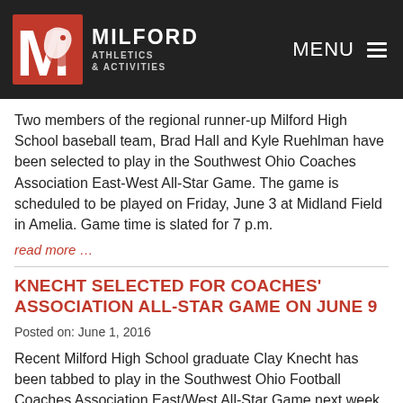[Figure (logo): Milford Athletics & Activities logo with red M and eagle, white text on dark background header]
Two members of the regional runner-up Milford High School baseball team, Brad Hall and Kyle Ruehlman have been selected to play in the Southwest Ohio Coaches Association East-West All-Star Game. The game is scheduled to be played on Friday, June 3 at Midland Field in Amelia. Game time is slated for 7 p.m.
read more …
KNECHT SELECTED FOR COACHES' ASSOCIATION ALL-STAR GAME ON JUNE 9
Posted on: June 1, 2016
Recent Milford High School graduate Clay Knecht has been tabbed to play in the Southwest Ohio Football Coaches Association East/West All-Star Game next week. Ashcraft, who started at center for the Eagles each of the last three years, will take part in the